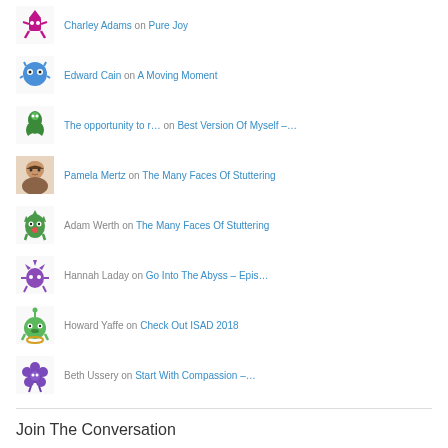Charley Adams on Pure Joy
Edward Cain on A Moving Moment
The opportunity to r… on Best Version Of Myself –…
Pamela Mertz on The Many Faces Of Stuttering
Adam Werth on The Many Faces Of Stuttering
Hannah Laday on Go Into The Abyss – Epis…
Howard Yaffe on Check Out ISAD 2018
Beth Ussery on Start With Compassion –…
Join The Conversation